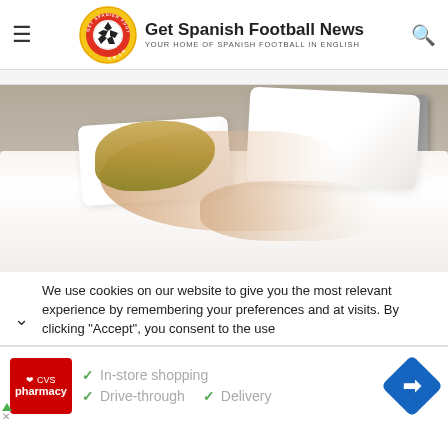Get Spanish Football News — YOUR HOME OF SPANISH FOOTBALL IN ENGLISH
[Figure (photo): Woman lying on a white bed surrounded by white pillows and bedding in a bedroom setting]
We use cookies on our website to give you the most relevant experience by remembering your preferences and repeat visits. By clicking "Accept", you consent to the use
[Figure (other): CVS Pharmacy advertisement banner showing In-store shopping, Drive-through, and Delivery options with navigation icon]